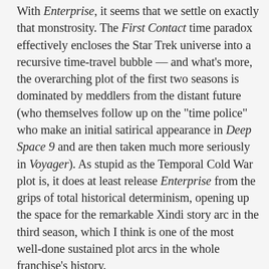With Enterprise, it seems that we settle on exactly that monstrosity. The First Contact time paradox effectively encloses the Star Trek universe into a recursive time-travel bubble — and what's more, the overarching plot of the first two seasons is dominated by meddlers from the distant future (who themselves follow up on the "time police" who make an initial satirical appearance in Deep Space 9 and are then taken much more seriously in Voyager). As stupid as the Temporal Cold War plot is, it does at least release Enterprise from the grips of total historical determinism, opening up the space for the remarkable Xindi story arc in the third season, which I think is one of the most well-done sustained plot arcs in the whole franchise's history.